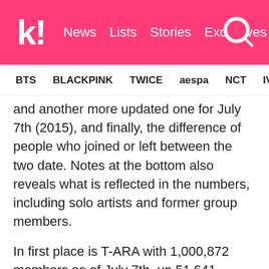k! News Lists Stories Exclusives
BTS BLACKPINK TWICE aespa NCT IVE ITZY
and another more updated one for July 7th (2015), and finally, the difference of people who joined or left between the two date. Notes at the bottom also reveals what is reflected in the numbers, including solo artists and former group members.
In first place is T-ARA with 1,000,872 members as of July 7th, up 51,641 members in a span of three days. Jessica Jung is behind in second place with 960,995 members. Girls' Generation comes in a close third with 951,415 members, f(x) in 4th with 801,590 members, 2NE1 with 695,151 members in 5th place, IU in 6th with